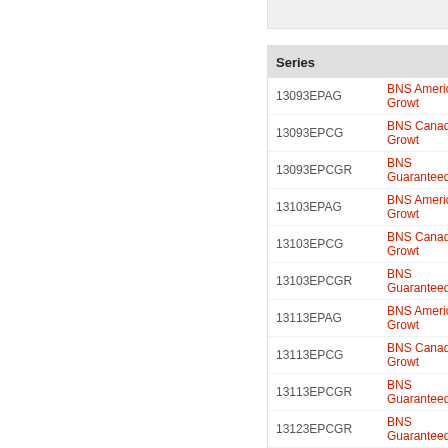| Series |  |
| --- | --- |
| 13093EPAG | BNS American Growt… |
| 13093EPCG | BNS Canadian Growt… |
| 13093EPCGR | BNS Guaranteed Ca… |
| 13103EPAG | BNS American Growt… |
| 13103EPCG | BNS Canadian Growt… |
| 13103EPCGR | BNS Guaranteed Ca… |
| 13113EPAG | BNS American Growt… |
| 13113EPCG | BNS Canadian Growt… |
| 13113EPCGR | BNS Guaranteed Ca… |
| 13123EPCGR | BNS Guaranteed Ca… |
| 13123EPCG | BNS Canadian Growt… |
| 13123EPAG | BNS American Growt… |
| 14013EPAG | BNS American Growt… |
| 14013EPCGR | BNS Guaranteed Ca… |